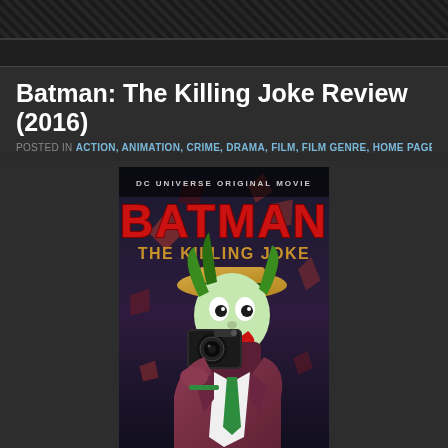Batman: The Killing Joke Review (2016)
POSTED IN ACTION, ANIMATION, CRIME, DRAMA, FILM, FILM GENRE, HOME PAGE, TH
[Figure (photo): Movie poster for Batman: The Killing Joke (2016 DC Universe Original Movie). Shows the Joker in a purple suit and yellow hat, holding a camera up to his eye, grinning menacingly. Text reads 'DC UNIVERSE ORIGINAL MOVIE' at top, 'BATMAN' in red stylized letters, 'THE KILLING JOKE' in gold letters below.]
Summary: As Batman hunts for the escaped Joker, the Clown Prince of C... family to prove a diabolical point mirroring his own fall into madness...